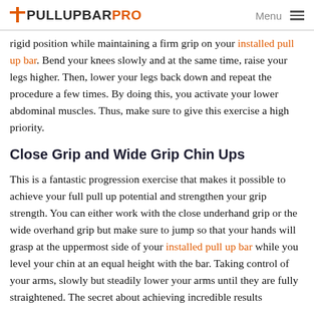PULLUPBARPRO | Menu
rigid position while maintaining a firm grip on your installed pull up bar. Bend your knees slowly and at the same time, raise your legs higher. Then, lower your legs back down and repeat the procedure a few times. By doing this, you activate your lower abdominal muscles. Thus, make sure to give this exercise a high priority.
Close Grip and Wide Grip Chin Ups
This is a fantastic progression exercise that makes it possible to achieve your full pull up potential and strengthen your grip strength. You can either work with the close underhand grip or the wide overhand grip but make sure to jump so that your hands will grasp at the uppermost side of your installed pull up bar while you level your chin at an equal height with the bar. Taking control of your arms, slowly but steadily lower your arms until they are fully straightened. The secret about achieving incredible results